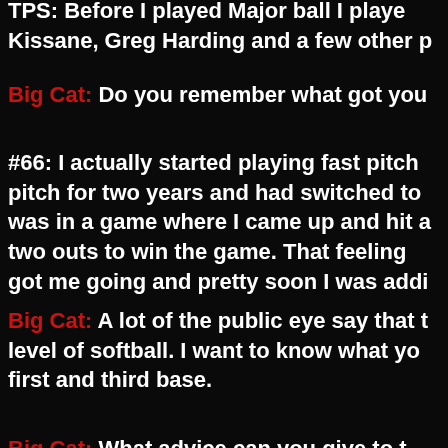TPS: Before I played Major ball I played... Kissane, Greg Harding and a few other p...
Big Cat: Do you remember what got you...
#66: I actually started playing fast pitch ... pitch for two years and had switched to... was in a game where I came up and hit a... two outs to win the game. That feeling... got me going and pretty soon I was addi...
Big Cat: A lot of the public eye say that t... level of softball. I want to know what yo... first and third base.
#66: I feel that the defense is great at th... play on the balls that should be caught... someone should catch it. You can't give... mean a lot more runs. I've seen teams... after a ball was misplayed.
Big Cat: What advice can you give to t... game?
#66: The most important piece of advice... has made me more consistent in every a...